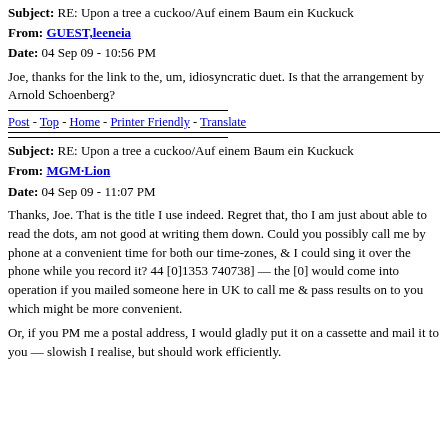Subject: RE: Upon a tree a cuckoo/Auf einem Baum ein Kuckuck
From: GUEST,leeneia
Date: 04 Sep 09 - 10:56 PM
Joe, thanks for the link to the, um, idiosyncratic duet. Is that the arrangement by Arnold Schoenberg?
Post - Top - Home - Printer Friendly - Translate
Subject: RE: Upon a tree a cuckoo/Auf einem Baum ein Kuckuck
From: MGM·Lion
Date: 04 Sep 09 - 11:07 PM
Thanks, Joe. That is the title I use indeed. Regret that, tho I am just about able to read the dots, am not good at writing them down. Could you possibly call me by phone at a convenient time for both our time-zones, & I could sing it over the phone while you record it? 44 [0]1353 740738] — the [0] would come into operation if you mailed someone here in UK to call me & pass results on to you which might be more convenient.
Or, if you PM me a postal address, I would gladly put it on a cassette and mail it to you — slowish I realise, but should work efficiently.